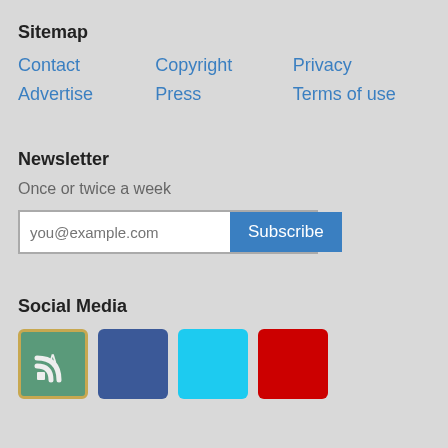Sitemap
Contact
Copyright
Privacy
Advertise
Press
Terms of use
Newsletter
Once or twice a week
you@example.com Subscribe
Social Media
[Figure (illustration): Four social media icon buttons: RSS feed (orange/green), Facebook (dark blue), Twitter (light blue), Google+ (red)]